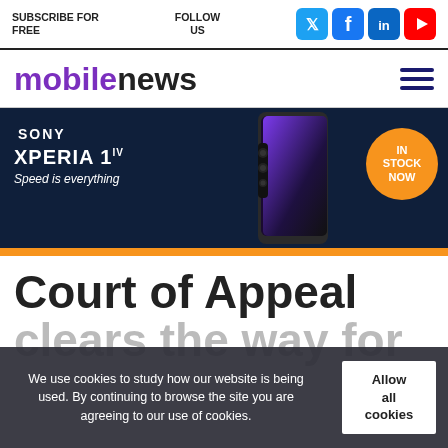SUBSCRIBE FOR FREE | FOLLOW US
mobilenews
[Figure (infographic): Sony Xperia 1 IV advertisement banner. Dark navy background with phone image, 'IN STOCK NOW' orange badge, 'SONY XPERIA 1 IV Speed is everything' text, orange bar at bottom.]
Court of Appeal clears the way for huge downgatew...
We use cookies to study how our website is being used. By continuing to browse the site you are agreeing to our use of cookies.